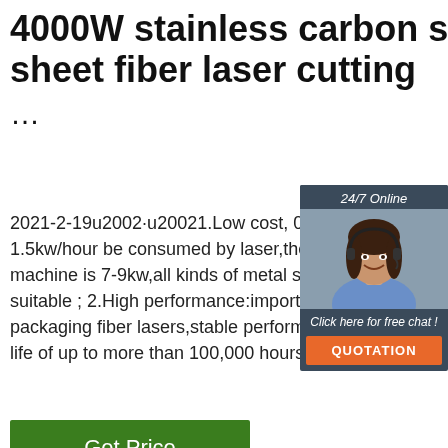4000W stainless carbon steel sheet fiber laser cutting ...
2021-2-19u2002·u20021.Low cost, 0.5kw 1.5kw/hour be consumed by laser,the power machine is 7-9kw,all kinds of metal sheet suitable ; 2.High performance:imported packaging fiber lasers,stable performace life of up to more than 100,000 hours ;
[Figure (screenshot): 24/7 online chat widget showing a woman with headset, click here for free chat and QUOTATION button]
[Figure (photo): Close-up photo of stainless steel round rods/bars arranged diagonally with TOP badge overlay]